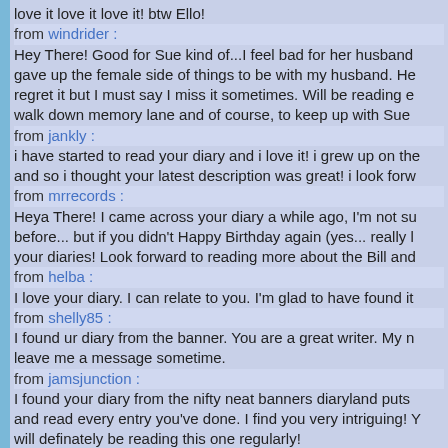love it love it love it! btw Ello!
from windrider :
Hey There! Good for Sue kind of...I feel bad for her husband gave up the female side of things to be with my husband. He regret it but I must say I miss it sometimes. Will be reading e walk down memory lane and of course, to keep up with Sue
from jankly :
i have started to read your diary and i love it! i grew up on the and so i thought your latest description was great! i look forw
from mrrecords :
Heya There! I came across your diary a while ago, I'm not su before... but if you didn't Happy Birthday again (yes... really l your diaries! Look forward to reading more about the Bill and
from helba :
I love your diary. I can relate to you. I'm glad to have found it
from shelly85 :
I found ur diary from the banner. You are a great writer. My n leave me a message sometime.
from jamsjunction :
I found your diary from the nifty neat banners diaryland puts and read every entry you've done. I find you very intriguing! Y will definately be reading this one regularly!
from blue-belle :
hon i luv it